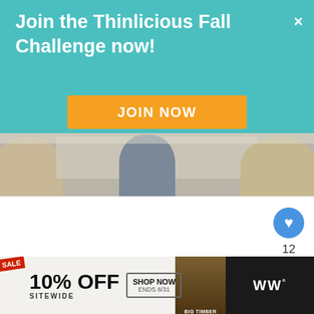Join the Thinlicious Fall Challenge now!
JOIN NOW
[Figure (photo): Photo strip showing two blond women and a person in a kitchen setting]
[Figure (other): Heart/like button (blue circle with heart icon) with count 12, and share button]
12
[Figure (other): What's Next widget with thumbnail and text 'What We're Into This...']
WHAT'S NEXT → What We're Into This...
[Figure (other): Advertisement bar: SALE 10% OFF SITEWIDE SHOP NOW ENDS 8/31 BIG TIMBER, with WW logo on the right]